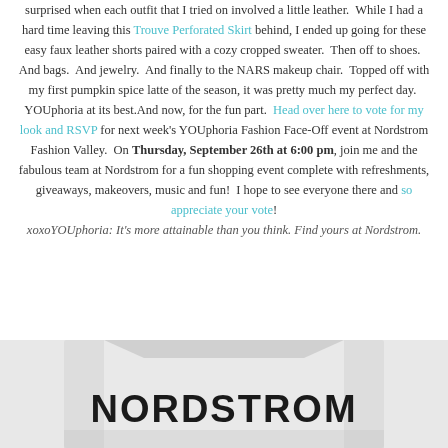surprised when each outfit that I tried on involved a little leather. While I had a hard time leaving this Trouve Perforated Skirt behind, I ended up going for these easy faux leather shorts paired with a cozy cropped sweater. Then off to shoes. And bags. And jewelry. And finally to the NARS makeup chair. Topped off with my first pumpkin spice latte of the season, it was pretty much my perfect day. YOUphoria at its best.And now, for the fun part. Head over here to vote for my look and RSVP for next week's YOUphoria Fashion Face-Off event at Nordstrom Fashion Valley. On Thursday, September 26th at 6:00 pm, join me and the fabulous team at Nordstrom for a fun shopping event complete with refreshments, giveaways, makeovers, music and fun! I hope to see everyone there and so appreciate your vote! xoxoYOUphoria: It's more attainable than you think. Find yours at Nordstrom.
[Figure (photo): Bottom portion of a Nordstrom shopping bag showing the Nordstrom logo in large dark letters]